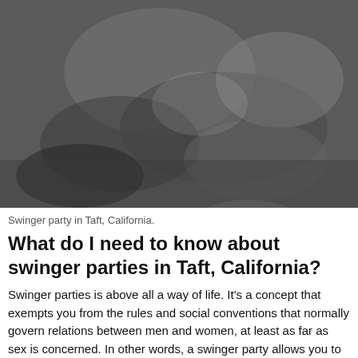[Figure (photo): Black and white photograph of two people in an intimate embrace on a bed]
Swinger party in Taft, California.
What do I need to know about swinger parties in Taft, California?
Swinger parties is above all a way of life. It's a concept that exempts you from the rules and social conventions that normally govern relations between men and women, at least as far as sex is concerned. In other words, a swinger party allows you to